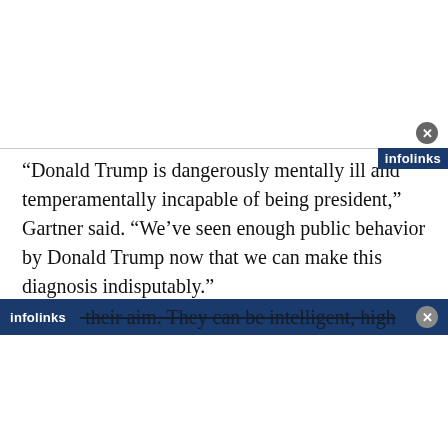“Donald Trump is dangerously mentally ill and temperamentally incapable of being president,” Gartner said. “We’ve seen enough public behavior by Donald Trump now that we can make this diagnosis indisputably.”
He makes an excellent point, Donald Trump fits the definition of malignant narcissist, as described in Psychology Today:
“Malignant Narcissists will go to great lengths to [achieve] their aim. They can be intelligent, high